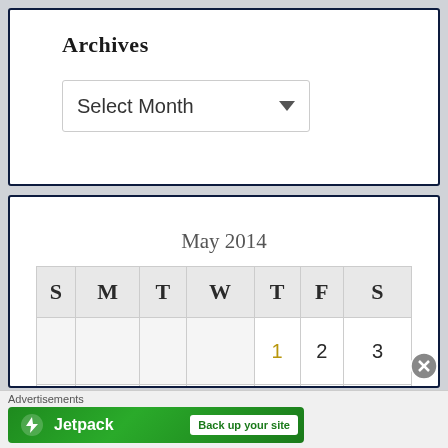Archives
Select Month
May 2014
| S | M | T | W | T | F | S |
| --- | --- | --- | --- | --- | --- | --- |
|  |  |  |  | 1 | 2 | 3 |
| 4 | 5 | 6 | 7 | 8 | 9 | 10 |
Advertisements
[Figure (screenshot): Jetpack advertisement banner — green background with Jetpack logo and 'Back up your site' button]